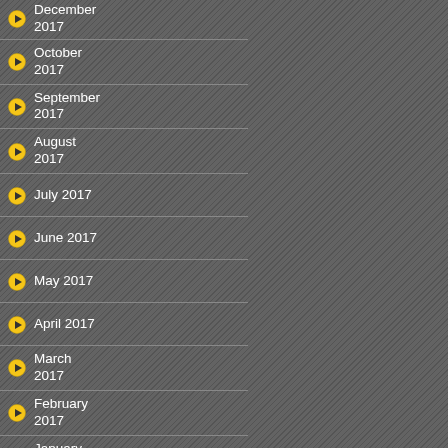December 2017
October 2017
September 2017
August 2017
July 2017
June 2017
May 2017
April 2017
March 2017
February 2017
January 2017
November 2016
October 2016
July 2016
June 2016
May 2016